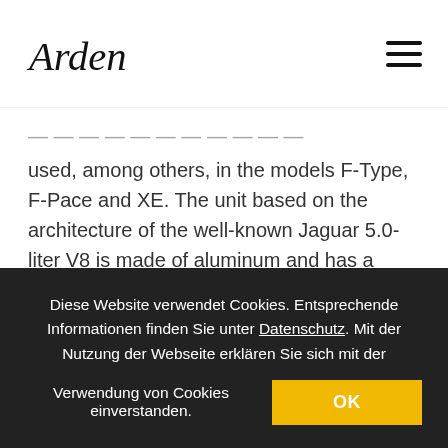Arden [logo] [hamburger menu icon]
used, among others, in the models F-Type, F-Pace and XE. The unit based on the architecture of the well-known Jaguar 5.0-liter V8 is made of aluminum and has a mechanical supercharger, which generates high boost pressure even at low engine speeds. This results in a high torque right from the start and an extremely good response
Diese Website verwendet Cookies. Entsprechende Informationen finden Sie unter Datenschutz. Mit der Nutzung der Webseite erklären Sie sich mit der Verwendung von Cookies einverstanden. OK